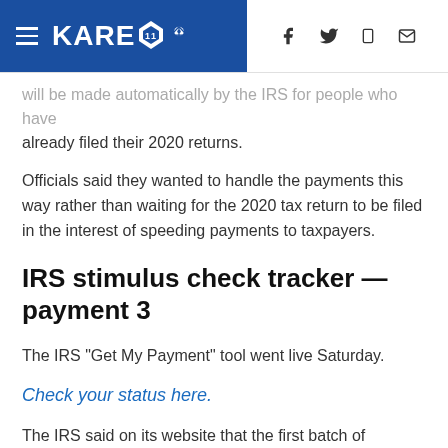KARE 11 NBC — navigation header with hamburger menu and social icons
will be made automatically by the IRS for people who have already filed their 2020 returns.
Officials said they wanted to handle the payments this way rather than waiting for the 2020 tax return to be filed in the interest of speeding payments to taxpayers.
IRS stimulus check tracker — payment 3
The IRS "Get My Payment" tool went live Saturday.
Check your status here.
The IRS said on its website that the first batch of payments will be sent by direct deposit.